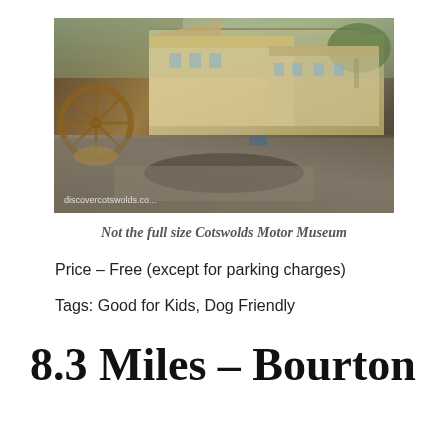[Figure (photo): Aerial or overhead view of a Cotswolds stone building complex with a waterwheel visible on the left side, stone roofs and walls, shadows on cobblestone ground. Watermark reads 'discovercotswolds.co...']
Not the full size Cotswolds Motor Museum
Price – Free (except for parking charges)
Tags: Good for Kids, Dog Friendly
8.3 Miles – Bourton